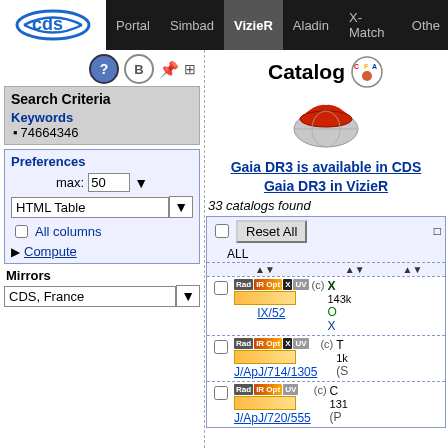Portal | Simbad | VizieR | Aladin | X-Match | Other
Catalog
[Figure (logo): VizieR database logo - red hat on globe]
Gaia DR3 is available in CDS Gaia DR3 in VizieR
33 catalogs found
Search Criteria
Keywords
74664346
Preferences
max: 50
HTML Table
All columns
Compute
Mirrors
CDS, France
|  | wavelength | density | (c) | catalog | count | description |
| --- | --- | --- | --- | --- | --- | --- |
| ☐ | Radio IR Opt X UV | ▓▓▓▓▓░░░░░ | (c) | IX/52 | 143k | X... |
| ☐ | Radio IR Opt X UV | ▓▓░░░░░░░░ | (c) | J/ApJ/714/1305 | 1k | T... (S...) |
| ☐ | Radio IR Opt X UV | ▓░░░░░░░░░ | (c) | J/ApJ/720/555 | 131 | C... (P...) |